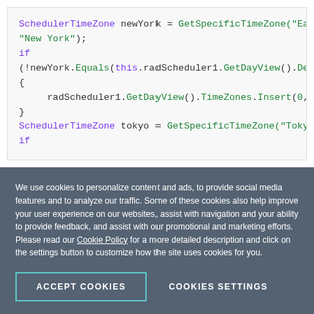[Figure (screenshot): Code block showing C# scheduler timezone code with syntax highlighting. Purple keywords, green strings/functions, dark text.]
Further, we may want to show the four most commonly used time zones - Tokyo, New York, London and P...
We use cookies to personalize content and ads, to provide social media features and to analyze our traffic. Some of these cookies also help improve your user experience on our websites, assist with navigation and your ability to provide feedback, and assist with our promotional and marketing efforts. Please read our Cookie Policy for a more detailed description and click on the settings button to customize how the site uses cookies for you.
ACCEPT COOKIES   COOKIES SETTINGS